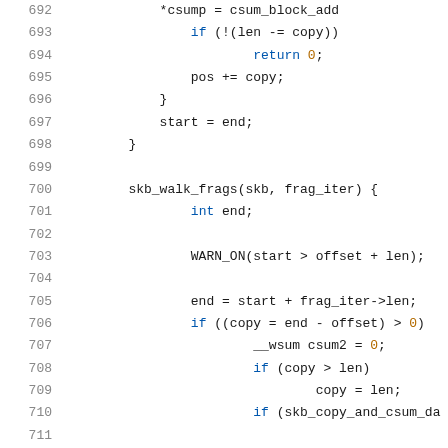[Figure (screenshot): Source code listing showing lines 692-713 of a C kernel networking function with syntax highlighting. Lines show checksum calculation, skb_walk_frags loop, WARN_ON, and fragment length calculations.]